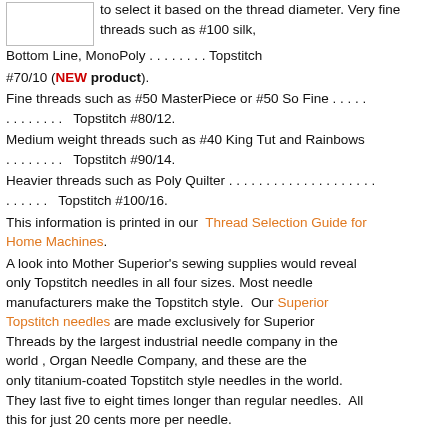[Figure (other): Small rectangular image placeholder (white box with border) at top left]
to select it based on the thread diameter. Very fine threads such as #100 silk, Bottom Line, MonoPoly . . . . . . . . Topstitch #70/10 (NEW product). Fine threads such as #50 MasterPiece or #50 So Fine . . . . . . . . . . . . . Topstitch #80/12. Medium weight threads such as #40 King Tut and Rainbows . . . . . . . . Topstitch #90/14. Heavier threads such as Poly Quilter . . . . . . . . . . . . . . . . . . . . . . . . . . Topstitch #100/16. This information is printed in our Thread Selection Guide for Home Machines. A look into Mother Superior's sewing supplies would reveal only Topstitch needles in all four sizes. Most needle manufacturers make the Topstitch style. Our Superior Topstitch needles are made exclusively for Superior Threads by the largest industrial needle company in the world , Organ Needle Company, and these are the only titanium-coated Topstitch style needles in the world. They last five to eight times longer than regular needles. All this for just 20 cents more per needle.